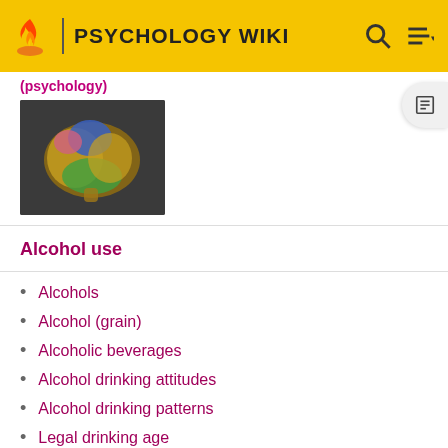PSYCHOLOGY WIKI
[Figure (photo): Colorful 3D brain illustration on dark background]
Alcohol use
Alcohols
Alcohol (grain)
Alcoholic beverages
Alcohol drinking attitudes
Alcohol drinking patterns
Legal drinking age
Drinking behavior
Drinking culture
Social drinking
Alcohol abuse